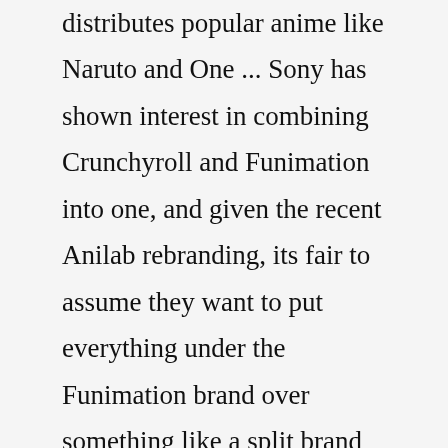distributes popular anime like Naruto and One ... Sony has shown interest in combining Crunchyroll and Funimation into one, and given the recent Anilab rebranding, its fair to assume they want to put everything under the Funimation brand over something like a split brand "CR for subs, Funi for dubs" idea. This immediately shows its first issues: Funimation blows. Specifically, it blows FUNCTIONALLY. Apr 26, 2022, 7:16 AM PDT - Christian